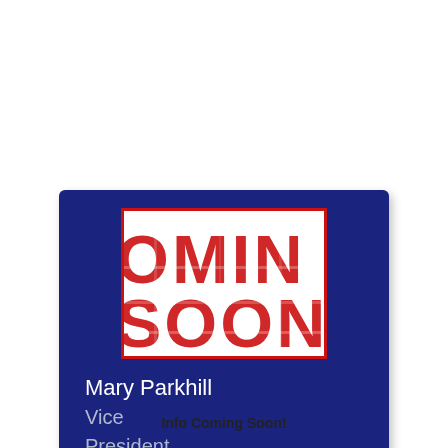[Figure (illustration): Profile card with dark navy blue background. Contains a white box with red distressed stamp-style text reading 'COMING SOON' (partially cropped to show 'OMIN' and 'SOON'). Below the image box is white text reading 'Mary Parkhill' and gray text reading 'Vice President'.]
Mary Parkhill
Vice President
Info Coming Soon!